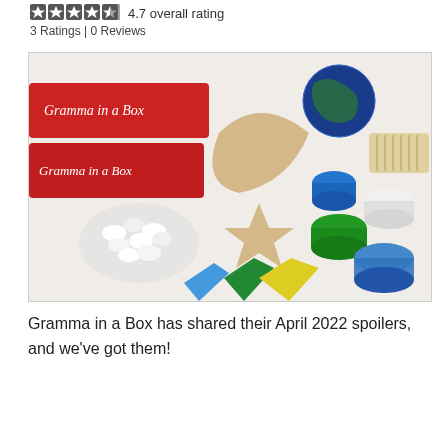4.7 overall rating
3 Ratings | 0 Reviews
[Figure (photo): Product photo of Gramma in a Box subscription boxes with cookie decorating supplies including star and moon shaped cookies, marshmallows, colored sprinkles and frosting bags]
Gramma in a Box has shared their April 2022 spoilers, and we've got them!